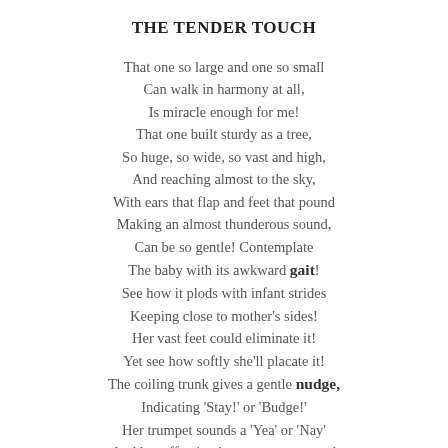THE TENDER TOUCH
That one so large and one so small
Can walk in harmony at all,
Is miracle enough for me!
That one built sturdy as a tree,
So huge, so wide, so vast and high,
And reaching almost to the sky,
With ears that flap and feet that pound
Making an almost thunderous sound,
Can be so gentle! Contemplate
The baby with its awkward gait!
See how it plods with infant strides
Keeping close to mother's sides!
Her vast feet could eliminate it!
Yet see how softly she'll placate it!
The coiling trunk gives a gentle nudge,
Indicating 'Stay!' or 'Budge!'
Her trumpet sounds a 'Yea' or 'Nay'
And her offspring knows to go or stay!
'The fruits will ripen soon and so